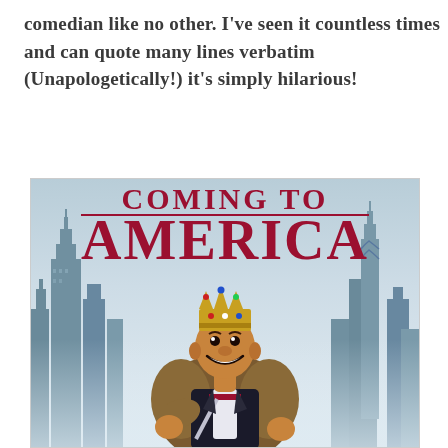comedian like no other. I've seen it countless times and can quote many lines verbatim (Unapologetically!) it's simply hilarious!
[Figure (illustration): Movie poster for 'Coming to America' featuring bold red serif title text 'COMING TO AMERICA' at the top with a decorative line between 'Coming To' and 'America', and a smiling man wearing a royal crown and ornate fur-trimmed robe, posed confidently against a backdrop of the New York City skyline with skyscrapers visible on both sides.]